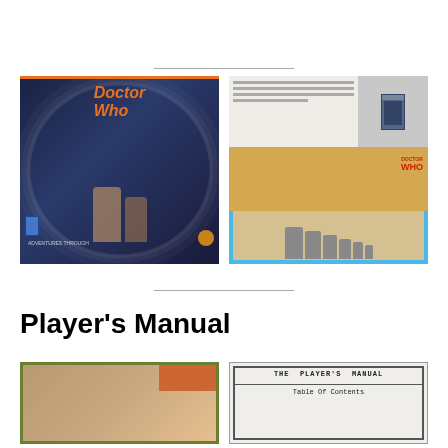[Figure (photo): Doctor Who Role Playing Game box cover showing two people in a swirling blue vortex with TARDIS and gold badge]
[Figure (photo): Doctor Who figurines box set showing Daleks and TARDIS model with blue border packaging]
Player's Manual
[Figure (photo): Tan/brown textured book cover with orange corner accent and green border]
[Figure (photo): Interior page of The Player's Manual showing Table of Contents header in monospace font]